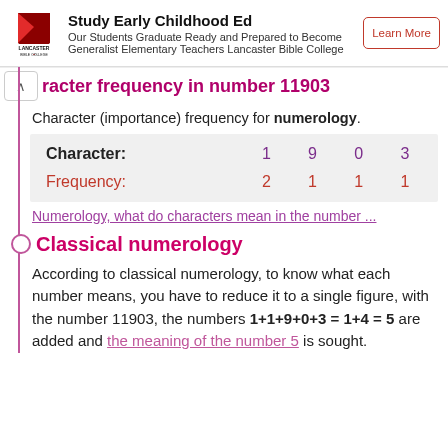[Figure (other): Lancaster Bible College advertisement banner with logo, text about Study Early Childhood Ed, and Learn More button]
racter frequency in number 11903
Character (importance) frequency for numerology.
| Character: | 1 | 9 | 0 | 3 |
| --- | --- | --- | --- | --- |
| Frequency: | 2 | 1 | 1 | 1 |
Numerology, what do characters mean in the number ...
Classical numerology
According to classical numerology, to know what each number means, you have to reduce it to a single figure, with the number 11903, the numbers 1+1+9+0+3 = 1+4 = 5 are added and the meaning of the number 5 is sought.